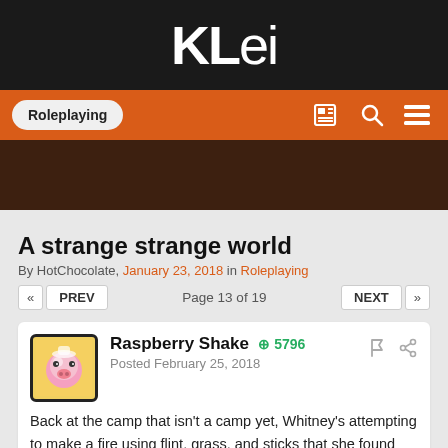KLei
Roleplaying
A strange strange world
By HotChocolate, January 23, 2018 in Roleplaying
Page 13 of 19
Raspberry Shake  5796
Posted February 25, 2018
Back at the camp that isn't a camp yet, Whitney's attempting to make a fire using flint, grass, and sticks that she found lying around. So far she's on succeeded in narrowly avoiding cutting